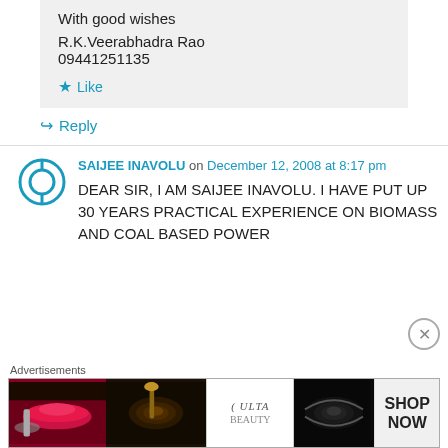With good wishes
R.K.Veerabhadra Rao
09441251135
★ Like
↪ Reply
SAIJEE INAVOLU on December 12, 2008 at 8:17 pm
DEAR SIR, I AM SAIJEE INAVOLU. I HAVE PUT UP 30 YEARS PRACTICAL EXPERIENCE ON BIOMASS AND COAL BASED POWER
Advertisements
[Figure (photo): Advertisements banner showing makeup/beauty products and ULTA beauty with SHOP NOW text]